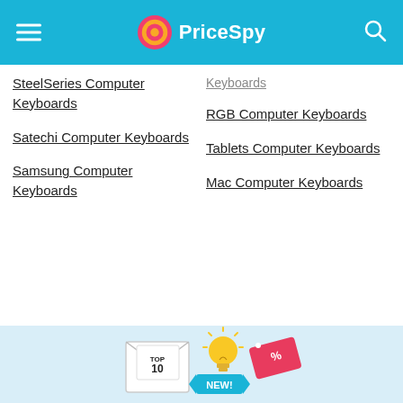PriceSpy
SteelSeries Computer Keyboards
Satechi Computer Keyboards
Samsung Computer Keyboards
Keyboards
RGB Computer Keyboards
Tablets Computer Keyboards
Mac Computer Keyboards
[Figure (illustration): Promotional illustration showing an envelope, a lightbulb, a tag with percent sign, and a ribbon saying NEW!, with TOP 10 text on a card — newsletter/deals promotional banner]